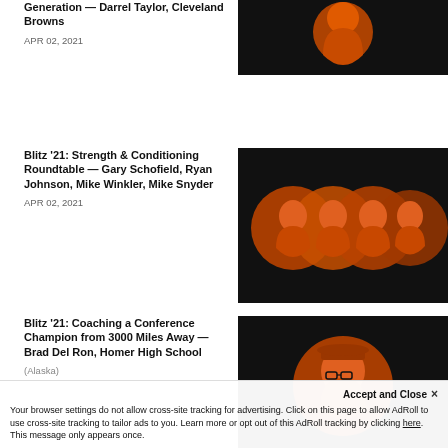Generation — Darrel Taylor, Cleveland Browns
APR 02, 2021
[Figure (photo): Dark background with orange-tinted portrait of a person in a suit]
Blitz '21: Strength & Conditioning Roundtable — Gary Schofield, Ryan Johnson, Mike Winkler, Mike Snyder
APR 02, 2021
[Figure (photo): Dark background with four overlapping orange-tinted circular portraits of people]
Blitz '21: Coaching a Conference Champion from 3000 Miles Away — Brad Del Ron, Homer High School (Alaska)
[Figure (photo): Dark background with orange-tinted circular portrait of a person wearing glasses and a cap]
Accept and Close ×
Your browser settings do not allow cross-site tracking for advertising. Click on this page to allow AdRoll to use cross-site tracking to tailor ads to you. Learn more or opt out of this AdRoll tracking by clicking here. This message only appears once.